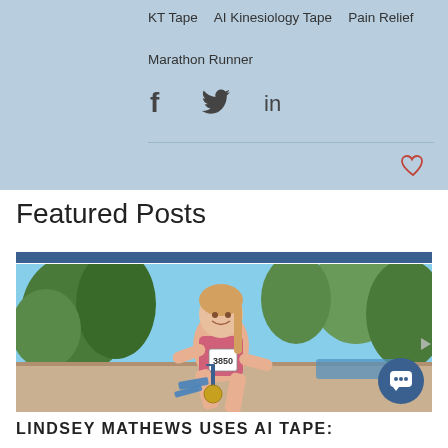KT Tape   AI Kinesiology Tape   Pain Relief
Marathon Runner
[Figure (infographic): Social media share icons: Facebook (f), Twitter (bird), LinkedIn (in)]
Featured Posts
[Figure (photo): Smiling female marathon runner sitting outdoors wearing race bib number 3850, blue KT tape on knee, medal around neck, sunny day with trees in background]
LINDSEY MATHEWS USES AI TAPE: